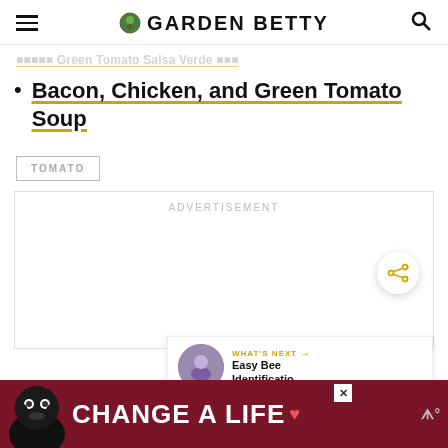GARDEN BETTY
Bacon, Chicken, and Green Tomato Soup
TOMATO
ADVERTISEMENT
WHAT'S NEXT → Easy Bee Identificatio...
[Figure (photo): Advertisement banner at bottom: dark red background, black dog, text CHANGE A LIFE with heart icon]